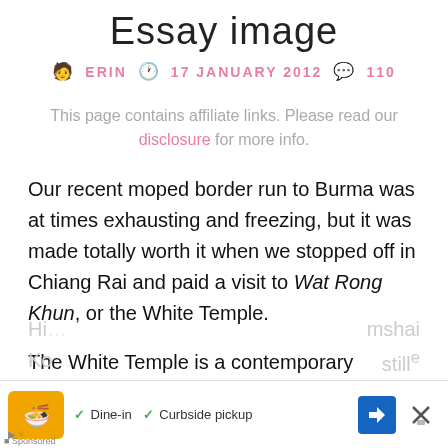Essay image
🧑 ERIN 🕐 17 JANUARY 2012 💬 110
This page contains affiliate links. Please read our disclosure for more info.
Our recent moped border run to Burma was at times exhausting and freezing, but it was made totally worth it when we stopped off in Chiang Rai and paid a visit to Wat Rong Khun, or the White Temple.
The White Temple is a contemporary Buddhist and
[Figure (screenshot): Advertisement banner at the bottom of the page showing a restaurant ad with orange logo, Dine-in and Curbside pickup options, a blue navigation arrow button, and a close button.]